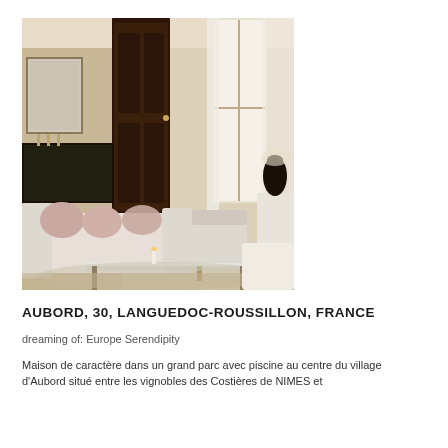[Figure (photo): Interior photo of an elegant French country house living room with white sofas, pink cushions, glass coffee table, dark wooden door, tall window with sheer curtains, antique dark vase on white console, and ornate rug.]
AUBORD, 30, LANGUEDOC-ROUSSILLON, FRANCE
dreaming of: Europe Serendipity
Maison de caractère dans un grand parc avec piscine au centre du village d'Aubord situé entre les vignobles des Costières de NIMES et